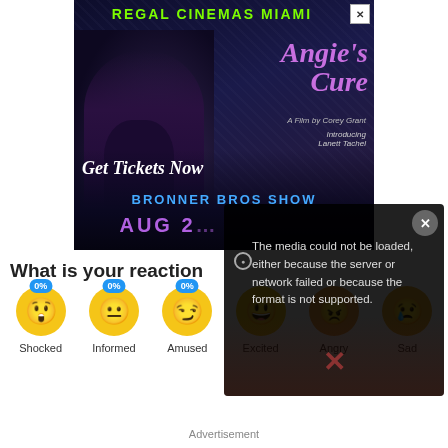[Figure (photo): Movie advertisement banner for 'Angie's Cure' at Regal Cinemas Miami, showing a woman sitting on a car, with text 'Get Tickets Now', 'Bronner Bros Show', 'Aug 2...' and a close button]
[Figure (screenshot): Video player error overlay with message: 'The media could not be loaded, either because the server or network failed or because the format is not supported.' with a close (x) button]
What is your reaction
[Figure (infographic): Emoji reaction row with 6 emojis labeled Shocked (0%), Informed (0%), Amused (0%), Excited, Angry, Sad]
Advertisement